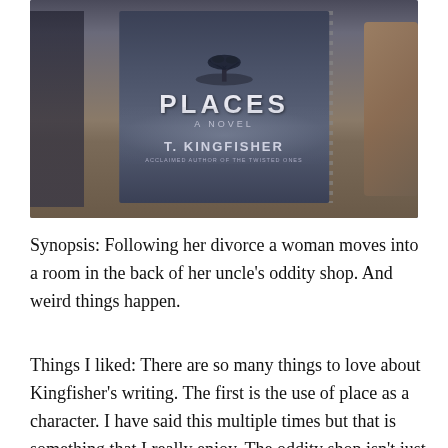[Figure (photo): A photograph of a book titled 'PLACES: A Novel' by T. Kingfisher, 'Acclaimed Author of The Twisted Ones', placed on a wooden surface surrounded by dark objects and a rock to the right.]
Synopsis: Following her divorce a woman moves into a room in the back of her uncle's oddity shop. And weird things happen.
Things I liked: There are so many things to love about Kingfisher's writing. The first is the use of place as a character. I have said this multiple times but that is something that I really enjoy. The oddity shop isn't just a place the book lives. It is part of the story. It is...